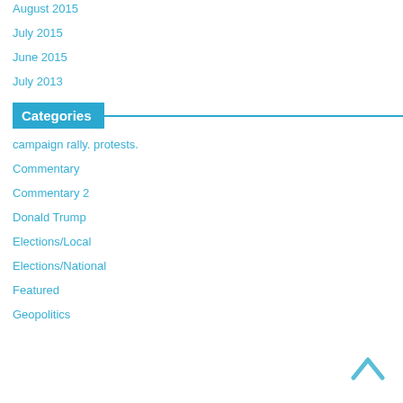August 2015
July 2015
June 2015
July 2013
Categories
campaign rally. protests.
Commentary
Commentary 2
Donald Trump
Elections/Local
Elections/National
Featured
Geopolitics